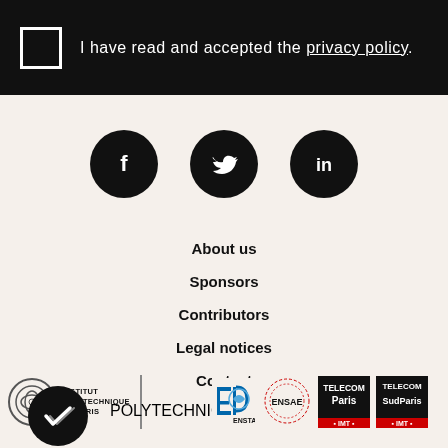I have read and accepted the privacy policy.
[Figure (illustration): Social media icons: Facebook, Twitter, LinkedIn in black circles]
About us
Sponsors
Contributors
Legal notices
Contact
[Figure (logo): Institut Polytechnique de Paris logo with partner institution logos: Ecole Polytechnique, ENSTA, ENSAE, Telecom Paris, Telecom SudParis]